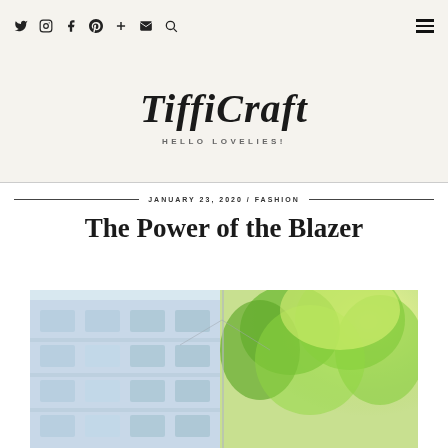TiffiCraft — HELLO LOVELIES! [nav icons: twitter, instagram, facebook, pinterest, plus, mail, search, hamburger menu]
JANUARY 23, 2020 / FASHION
The Power of the Blazer
[Figure (photo): Outdoor photo showing a building with blue-tinted glass windows on the left and green sunlit trees on the right, cropped at the bottom]